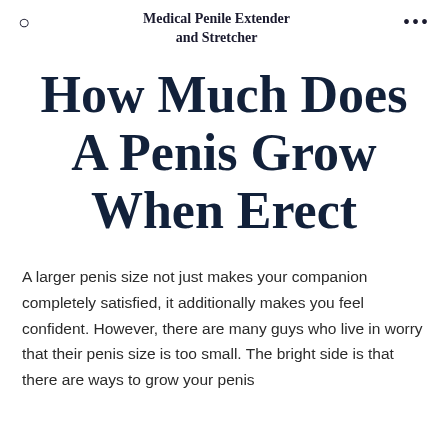Medical Penile Extender and Stretcher
How Much Does A Penis Grow When Erect
A larger penis size not just makes your companion completely satisfied, it additionally makes you feel confident. However, there are many guys who live in worry that their penis size is too small. The bright side is that there are ways to grow your penis